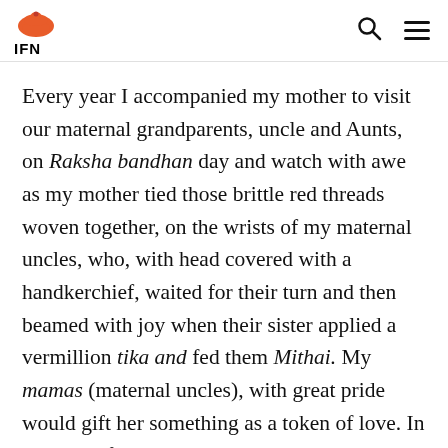IFN
Every year I accompanied my mother to visit our maternal grandparents, uncle and Aunts, on Raksha bandhan day and watch with awe as my mother tied those brittle red threads woven together, on the wrists of my maternal uncles, who, with head covered with a handkerchief, waited for their turn and then beamed with joy when their sister applied a vermillion tika and fed them Mithai. My mamas (maternal uncles), with great pride would gift her something as a token of love. In absence of a biological brother, I and my siblings tied Rakhis to either cousins or boys in neighbourhood. Also, my Bus (father's